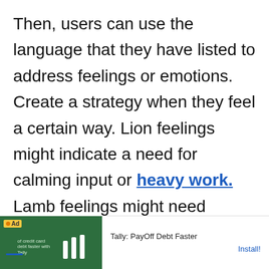Then, users can use the language that they have listed to address feelings or emotions. Create a strategy when they feel a certain way. Lion feelings might indicate a need for calming input or heavy work. Lamb feelings might need alerting input. This is a great tool to start talking about various needs and social emoti...
[Figure (other): Advertisement banner for Tally: PayOff Debt Faster app. Shows green background with Tally logo bars, small text about credit card debt, Ad badge, and Install button.]